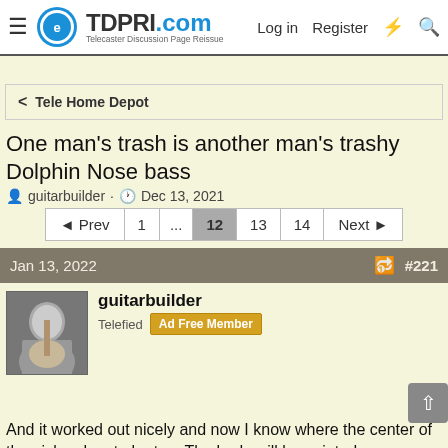TDPRI.com — Telecaster Discussion Page Reissue | Log in | Register
< Tele Home Depot
One man's trash is another man's trashy Dolphin Nose bass
guitarbuilder · Dec 13, 2021
◄ Prev | 1 | ... | 12 | 13 | 14 | Next ►
Jan 13, 2022   #221
guitarbuilder
Telefied  Ad Free Member
And it worked out nicely and now I know where the center of the pickup has to be too. The body will be painted some opaque